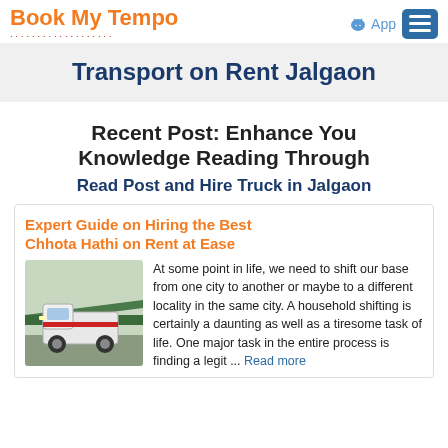Book My Tempo — App navigation bar
Transport on Rent Jalgaon
Recent Post: Enhance You Knowledge Reading Through
Read Post and Hire Truck in Jalgaon
Expert Guide on Hiring the Best Chhota Hathi on Rent at Ease
[Figure (photo): Photo of a small truck (Chhota Hathi / mini tempo) parked in a lot with a green shed/structure in background]
At some point in life, we need to shift our base from one city to another or maybe to a different locality in the same city. A household shifting is certainly a daunting as well as a tiresome task of life. One major task in the entire process is finding a legit ... Read more